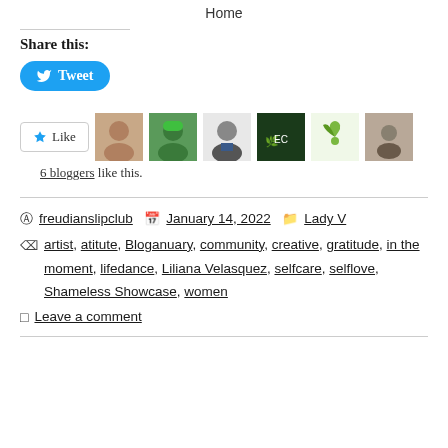Home
Share this:
[Figure (screenshot): Tweet button - blue rounded button with Twitter bird icon and 'Tweet' text]
[Figure (screenshot): WordPress Like button with star icon and 6 blogger avatars shown. 6 bloggers like this.]
freudianslipclub   January 14, 2022   Lady V
artist, atitute, Bloganuary, community, creative, gratitude, in the moment, lifedance, Liliana Velasquez, selfcare, selflove, Shameless Showcase, women
Leave a comment